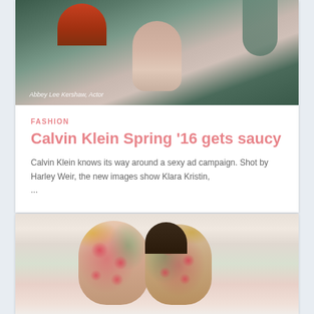[Figure (photo): Blurred close-up photo of a person, dark and muted tones with soft focus. Caption reads 'Abbey Lee Kershaw, Actor']
Abbey Lee Kershaw, Actor
FASHION
Calvin Klein Spring '16 gets saucy
Calvin Klein knows its way around a sexy ad campaign. Shot by Harley Weir, the new images show Klara Kristin, ...
[Figure (photo): Two people with colorful face paint — pink, red dots, green, and yellow colors covering their faces. They are close together.]